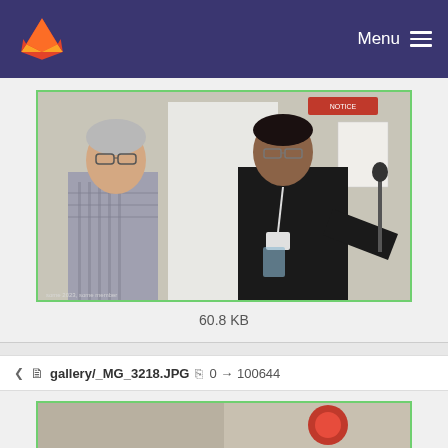Menu
[Figure (photo): Two men standing in what appears to be a laboratory or office room with white appliances/boards in the background. An older man with glasses in a plaid shirt on the left, and a younger man in a black shirt holding something on the right.]
60.8 KB
gallery/_MG_3218.JPG  0 → 100644
[Figure (photo): Partially visible second photo at the bottom of the page.]